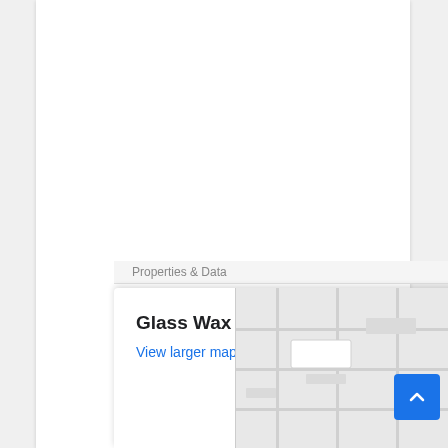[Figure (screenshot): White page content area (mostly blank white space at top)]
Glass Wax LLC
View larger map
[Figure (map): Google Maps thumbnail showing a light grey map area to the right of the business info card]
[Figure (screenshot): Blue scroll-to-top button with upward chevron arrow in bottom right corner]